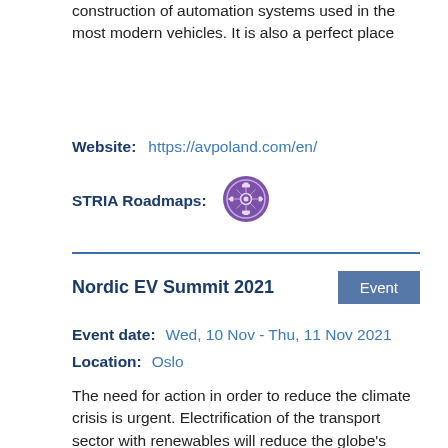construction of automation systems used in the most modern vehicles. It is also a perfect place
Website:    https://avpoland.com/en/
STRIA Roadmaps:
[Figure (logo): Purple circular STRIA roadmap icon with connected vehicles/network graphic]
Nordic EV Summit 2021
Event
Event date:    Wed, 10 Nov - Thu, 11 Nov 2021
Location:    Oslo
The need for action in order to reduce the climate crisis is urgent. Electrification of the transport sector with renewables will reduce the globe's carbon emissions considerably. The Nordic EV Summit will address how we get policymakers,